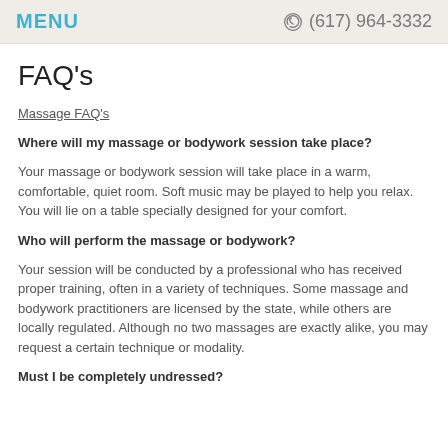MENU  (617) 964-3332
FAQ's
Massage FAQ's
Where will my massage or bodywork session take place?
Your massage or bodywork session will take place in a warm, comfortable, quiet room. Soft music may be played to help you relax. You will lie on a table specially designed for your comfort.
Who will perform the massage or bodywork?
Your session will be conducted by a professional who has received proper training, often in a variety of techniques. Some massage and bodywork practitioners are licensed by the state, while others are locally regulated. Although no two massages are exactly alike, you may request a certain technique or modality.
Must I be completely undressed?